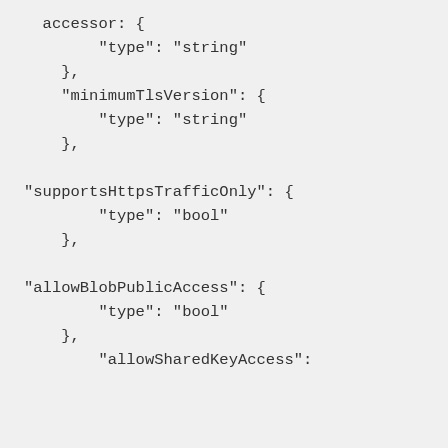accessor: {
            "type": "string"
        },
        "minimumTlsVersion": {
            "type": "string"
        },

"supportsHttpsTrafficOnly": {
            "type": "bool"
        },

"allowBlobPublicAccess": {
            "type": "bool"
        },
            "allowSharedKeyAccess":